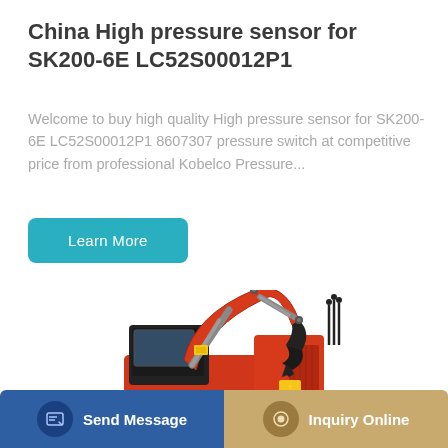China High pressure sensor for SK200-6E LC52S00012P1
Welcome to buy high quality High pressure sensor for SK200-6E LC52S00012P1 8607307 pressure switch at competitive price from professional Kobelco Pressure...
Learn More
[Figure (photo): Red Kobelco-style mini excavator with hydraulic arm, black tracks, and hydraulic lines visible on the body]
Send Message | Inquiry Online